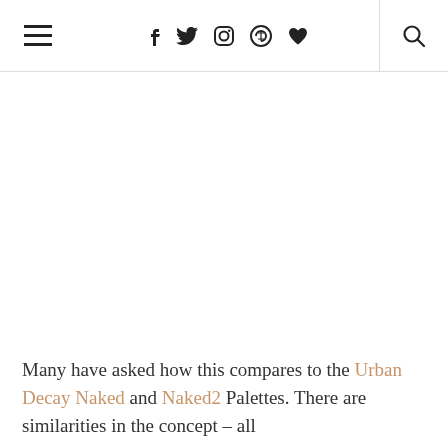≡  f  Twitter  Instagram  Pinterest  ♥  🔍
[Figure (other): Blank white image area below the navigation header]
Many have asked how this compares to the Urban Decay Naked and Naked2 Palettes. There are similarities in the concept – all